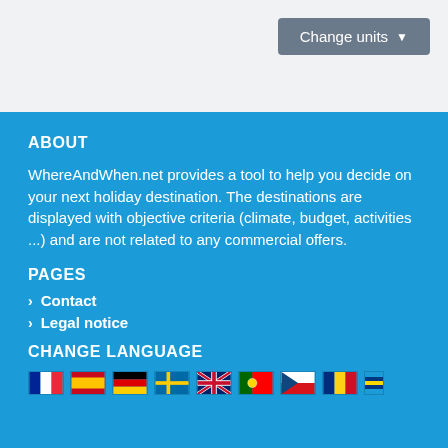[Figure (screenshot): Gray top bar with 'Change units' dropdown button in dark gray on the right]
ABOUT
WhereAndWhen.net provides a tool to help you decide on your next holiday destination. The destinations are displayed with objective criteria (climate, budget, activities ...) and are not related to any commercial offers.
PAGES
Contact
Legal notice
CHANGE LANGUAGE
[Figure (illustration): Row of country flag icons for language selection]